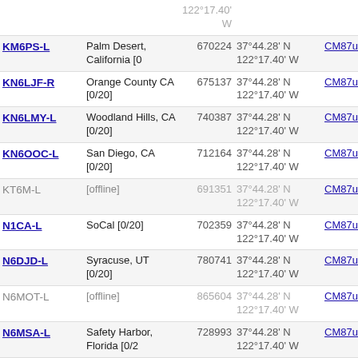| Callsign | Location | Node | Coordinates | Grid | Freq |
| --- | --- | --- | --- | --- | --- |
| KM6PS-L | Palm Desert, California [0 | 670224 | 37°44.28' N 122°17.40' W | CM87ur | 6379.6 |
| KN6LJF-R | Orange County CA [0/20] | 675137 | 37°44.28' N 122°17.40' W | CM87ur | 6379.6 |
| KN6LMY-L | Woodland Hills, CA [0/20] | 740387 | 37°44.28' N 122°17.40' W | CM87ur | 6379.6 |
| KN6OOC-L | San Diego, CA [0/20] | 712164 | 37°44.28' N 122°17.40' W | CM87ur | 6379.6 |
| KT6M-L (offline) | [offline] | 691351 | 37°44.28' N 122°17.40' W | CM87ur | 6379.6 |
| N1CA-L | SoCal [0/20] | 702359 | 37°44.28' N 122°17.40' W | CM87ur | 6379.6 |
| N6DJD-L | Syracuse, UT [0/20] | 780741 | 37°44.28' N 122°17.40' W | CM87ur | 6379.6 |
| N6MOT-L (offline) | [offline] | 865604 | 37°44.28' N 122°17.40' W | CM87ur | 6379.6 |
| N6MSA-L | Safety Harbor, Florida [0/2 | 728993 | 37°44.28' N 122°17.40' W | CM87ur | 6379.6 |
| N6UTD-L | Redlands CA [0/20] | 677268 | 37°44.28' N 122°17.40' W | CM87ur | 6379.6 |
| N7TND-L | Las Vegas NV [0/20] | 664818 | 37°44.28' N 122°17.40' W | CM87ur | 6379.6 |
| NU6P-L | Saratoga, Ca [0/20] | 749055 | 37°44.28' N 122°17.40' W | CM87ur | 6379.6 |
| VK3XXX-L (offline) | [offline] | 679735 | 37°44.28' N 122°17.40' W | CM87ur | 6379.6 |